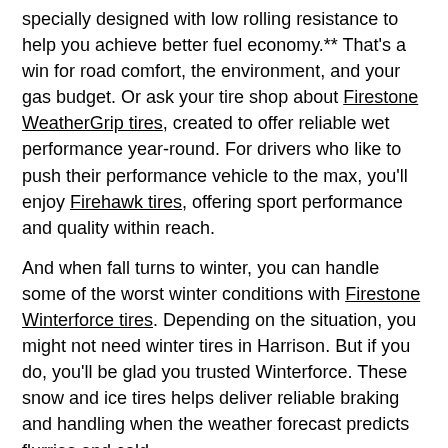specially designed with low rolling resistance to help you achieve better fuel economy.** That's a win for road comfort, the environment, and your gas budget. Or ask your tire shop about Firestone WeatherGrip tires, created to offer reliable wet performance year-round. For drivers who like to push their performance vehicle to the max, you'll enjoy Firehawk tires, offering sport performance and quality within reach.
And when fall turns to winter, you can handle some of the worst winter conditions with Firestone Winterforce tires. Depending on the situation, you might not need winter tires in Harrison. But if you do, you'll be glad you trusted Winterforce. These snow and ice tires helps deliver reliable braking and handling when the weather forecast predicts flurries and cold.
Firestone all-season tires are an exceptional pick for moderate weather areas of New Jersey. They're engineered with traction to hold tight to the road in a range of winter conditions, and are available for light trucks, SUVs and sedans.